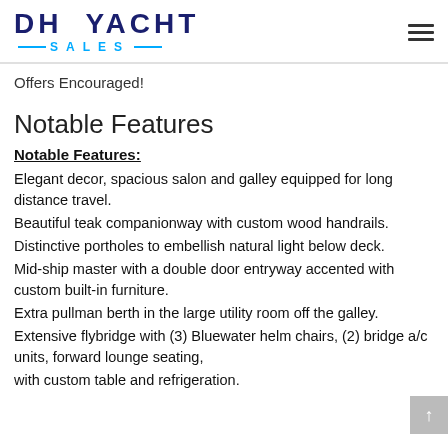DH YACHT SALES
Offers Encouraged!
Notable Features
Notable Features:
Elegant decor, spacious salon and galley equipped for long distance travel.
Beautiful teak companionway with custom wood handrails.
Distinctive portholes to embellish natural light below deck.
Mid-ship master with a double door entryway accented with custom built-in furniture.
Extra pullman berth in the large utility room off the galley.
Extensive flybridge with (3) Bluewater helm chairs, (2) bridge a/c units, forward lounge seating,
with custom table and refrigeration.